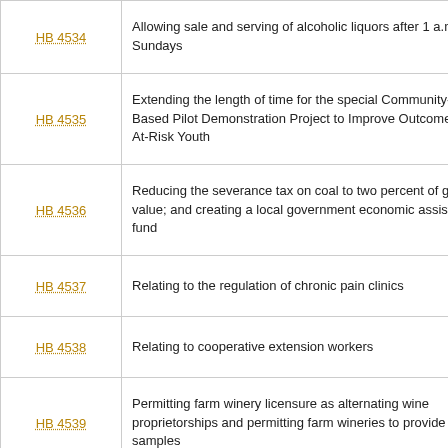| Bill Number | Description |
| --- | --- |
| HB 4534 | Allowing sale and serving of alcoholic liquors after 1 a.m. on Sundays |
| HB 4535 | Extending the length of time for the special Community-Based Pilot Demonstration Project to Improve Outcomes for At-Risk Youth |
| HB 4536 | Reducing the severance tax on coal to two percent of gross value; and creating a local government economic assistance fund |
| HB 4537 | Relating to the regulation of chronic pain clinics |
| HB 4538 | Relating to cooperative extension workers |
| HB 4539 | Permitting farm winery licensure as alternating wine proprietorships and permitting farm wineries to provide samples |
| HB 4540 | Removing prohibition of disposal of certain electronics in landfills |
| HB 4541 | Limiting the authority of certain litigants to update the... |